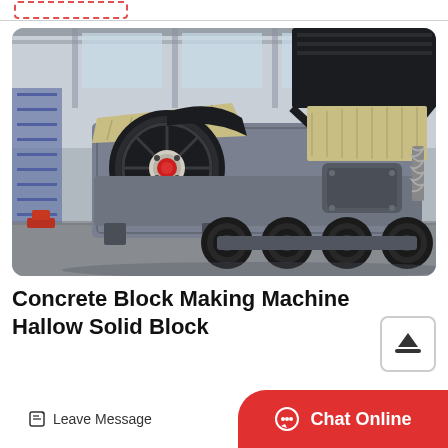[Figure (photo): Large industrial mobile jaw crusher machine mounted on a trailer with multiple wheels, shown inside a warehouse/factory. The machine features a large black flywheel with a red center, yellow/beige crusher body components, and a grey steel frame chassis on rubber tires.]
Concrete Block Making Machine Hallow Solid Block
Leave Message
Chat Online